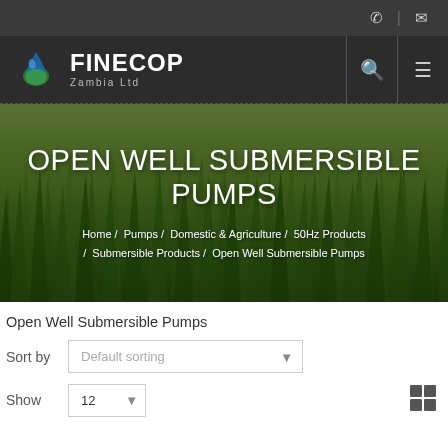[Figure (screenshot): Website screenshot of Finecop Zambia Ltd product page for Open Well Submersible Pumps, showing navigation bar with logo, hero image with green grass background, breadcrumb navigation, sort and show controls]
FINECOP Zambia Ltd
OPEN WELL SUBMERSIBLE PUMPS
Home / Pumps / Domestic & Agriculture / 50Hz Products / Submersible Products / Open Well Submersible Pumps
Open Well Submersible Pumps
Sort by  Default sorting
Show  12